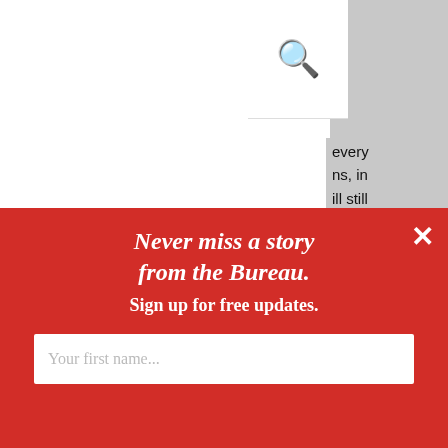[Figure (screenshot): Website screenshot showing a cookie consent dialog overlaid on a news website. A gray sidebar is visible on the right with a search icon, partial text 'every', 'ns, in', 'ill still', 'twork', and italic 'a rally'. The main area shows a cookie notice. At the bottom is a red OptinMonster popup for newsletter signup.]
OUR USE OF COOKIES
We use cookies to make our site work. We’d also like to set optional cookies to analyse visits and provide additional functionality. You can manage the cookies and we will remember your preferences Privacy Page
Never miss a story from the Bureau.
Sign up for free updates.
Your first name...